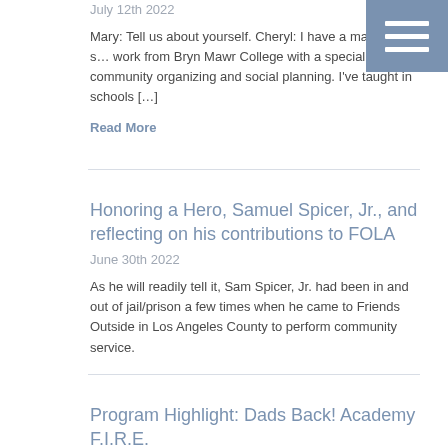July 12th 2022
Mary: Tell us about yourself. Cheryl: I have a master's in s… work from Bryn Mawr College with a specialization in community organizing and social planning.  I've taught in schools […]
Read More
Honoring a Hero, Samuel Spicer, Jr., and reflecting on his contributions to FOLA
June 30th 2022
As he will readily tell it, Sam Spicer, Jr. had been in and out of jail/prison a few times when he came to Friends Outside in Los Angeles County to perform community service.
Program Highlight: Dads Back! Academy F.I.R.E.